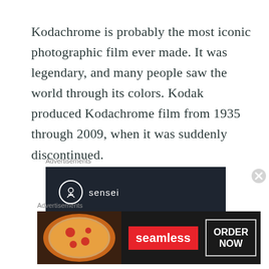Kodachrome is probably the most iconic photographic film ever made. It was legendary, and many people saw the world through its colors. Kodak produced Kodachrome film from 1935 through 2009, when it was suddenly discontinued.
Advertisements
[Figure (screenshot): Sensei advertisement on dark background: sensei logo with tree icon and text 'Launch your online course with WordPress']
Advertisements
[Figure (screenshot): Seamless food delivery advertisement showing pizza image with Seamless logo and ORDER NOW button]